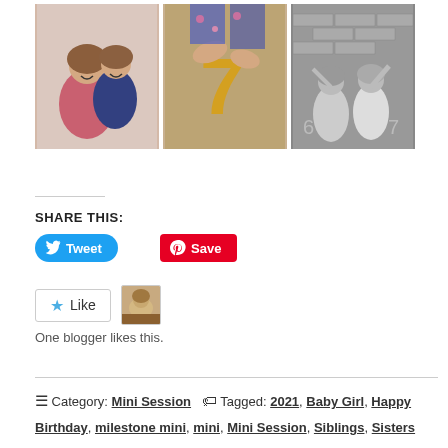[Figure (photo): Three photos in a row: left - two girls lying on white fur smiling, center - hands holding a gold number 7 balloon, right - black and white photo of two girls standing in front of a brick wall with balloons]
SHARE THIS:
[Figure (screenshot): Tweet button (blue rounded) and Save button (red Pinterest)]
[Figure (screenshot): Like button with star icon and a blogger avatar thumbnail]
One blogger likes this.
Category: Mini Session   Tagged: 2021, Baby Girl, Happy Birthday, milestone mini, mini, Mini Session, Siblings, Sisters